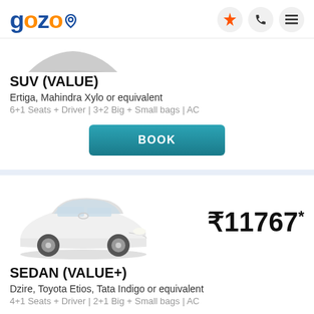gozo
[Figure (photo): Partial top view of SUV car (cropped)]
SUV (VALUE)
Ertiga, Mahindra Xylo or equivalent
6+1 Seats + Driver | 3+2 Big + Small bags | AC
BOOK
[Figure (photo): White Toyota Etios sedan car]
₹11767*
SEDAN (VALUE+)
Dzire, Toyota Etios, Tata Indigo or equivalent
4+1 Seats + Driver | 2+1 Big + Small bags | AC